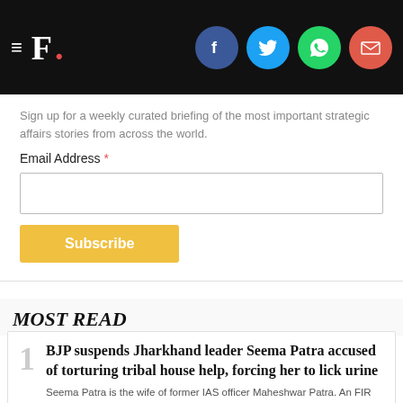F. [social icons: Facebook, Twitter, WhatsApp, Email]
Sign up for a weekly curated briefing of the most important strategic affairs stories from across the world.
Email Address *
MOST READ
1 BJP suspends Jharkhand leader Seema Patra accused of torturing tribal house help, forcing her to lick urine. Seema Patra is the wife of former IAS officer Maheshwar Patra. An FIR has been registered under the SC-ST (Prevention of Atrocities) Act
2 Adani Group to launch open offer for NDTV